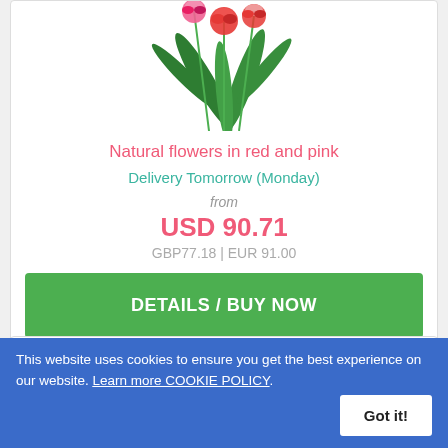[Figure (photo): Bouquet of red and pink carnations with green tropical leaves on white background]
Natural flowers in red and pink
Delivery Tomorrow (Monday)
from
USD 90.71
GBP77.18 | EUR 91.00
DETAILS / BUY NOW
This website uses cookies to ensure you get the best experience on our website. Learn more COOKIE POLICY.
Got it!